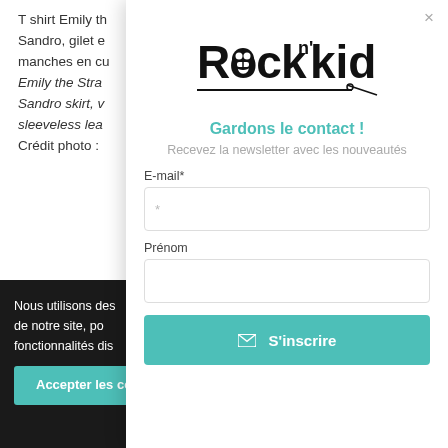T shirt Emily th
Sandro, gilet e
manches en cu
Emily the Stra
Sandro skirt, v
sleeveless lea
Crédit photo :
Mode, San
Nous utilisons des
de notre site, po
fonctionnalités dis
Accepter les co
[Figure (logo): Rock n Kid logo with skull icon and needle/thread underline]
Gardons le contact !
Recevez la newsletter avec les nouveautés
E-mail*
*
Prénom
S'inscrire